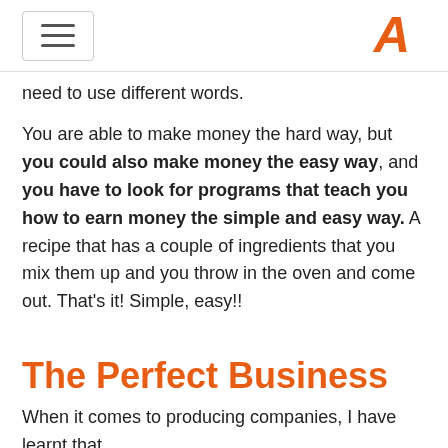[hamburger menu] [logo A]
need to use different words.
You are able to make money the hard way, but you could also make money the easy way, and you have to look for programs that teach you how to earn money the simple and easy way. A recipe that has a couple of ingredients that you mix them up and you throw in the oven and come out. That's it! Simple, easy!!
The Perfect Business
When it comes to producing companies, I have learnt that